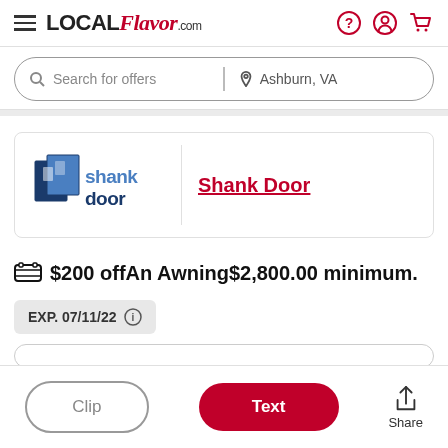LOCAL Flavor.com — navigation header with search bar
[Figure (logo): Shank Door company logo with blue door icon and blue/dark text]
Shank Door
$200 offAn Awning$2,800.00 minimum.
EXP. 07/11/22
Clip
Text
Share